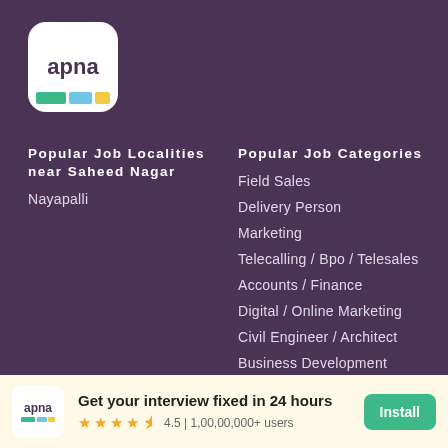[Figure (logo): apna app logo — white rounded square with 'apna' text and colored bar segments (green, blue, yellow)]
Popular Job Localities near Saheed Nagar
Nayapalli
Popular Job Categories
Field Sales
Delivery Person
Marketing
Telecalling / Bpo / Telesales
Accounts / Finance
Digital / Online Marketing
Civil Engineer / Architect
Business Development
Software / Web Developer
Teacher / Faculty / Tutor
Get your interview fixed in 24 hours
4.5 | 1,00,00,000+ users